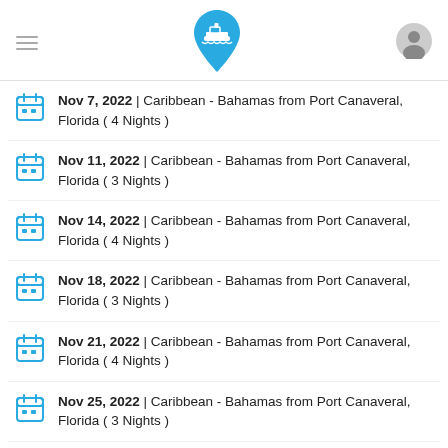App navigation header with hamburger menu, cruise ship logo, and user icon
Nov 7, 2022 | Caribbean - Bahamas from Port Canaveral, Florida ( 4 Nights )
Nov 11, 2022 | Caribbean - Bahamas from Port Canaveral, Florida ( 3 Nights )
Nov 14, 2022 | Caribbean - Bahamas from Port Canaveral, Florida ( 4 Nights )
Nov 18, 2022 | Caribbean - Bahamas from Port Canaveral, Florida ( 3 Nights )
Nov 21, 2022 | Caribbean - Bahamas from Port Canaveral, Florida ( 4 Nights )
Nov 25, 2022 | Caribbean - Bahamas from Port Canaveral, Florida ( 3 Nights )
Nov 28, 2022 | Caribbean - Bahamas from Port Canaveral, Florida ( 4 Nights )
Dec 2, 2022 | Caribbean - Bahamas from Port Canaveral, Florida ( 3 Nights )